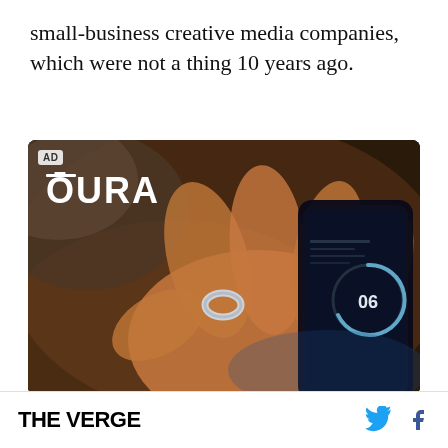small-business creative media companies, which were not a thing 10 years ago.
[Figure (photo): Advertisement for Oura ring showing a hand holding a smartphone with a sleep score app, wearing a silver Oura ring on the finger. The 'OURA' logo appears in white text in the upper left corner with the 'O' having an overline. An 'AD' badge is visible in the top left.]
THE VERGE